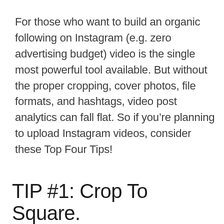For those who want to build an organic following on Instagram (e.g. zero advertising budget) video is the single most powerful tool available. But without the proper cropping, cover photos, file formats, and hashtags, video post analytics can fall flat. So if you're planning to upload Instagram videos, consider these Top Four Tips!
TIP #1: Crop To Square.